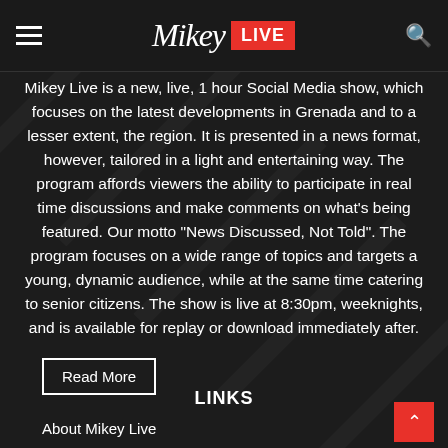Mikey LIVE
Mikey Live is a new, live, 1 hour Social Media show, which focuses on the latest developments in Grenada and to a lesser extent, the region. It is presented in a news format, however, tailored in a light and entertaining way. The program affords viewers the ability to participate in real time discussions and make comments on what’s being featured. Our motto “News Discussed, Not Told”. The program focuses on a wide range of topics and targets a young, dynamic audience, while at the same time catering to senior citizens. The show is live at 8:30pm, weeknights, and is available for replay or download immediately after.
Read More
LINKS
About Mikey Live